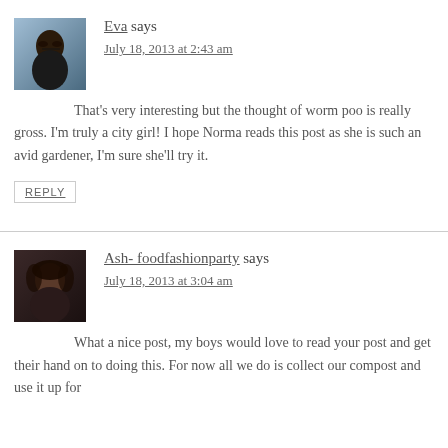Eva says
July 18, 2013 at 2:43 am
That's very interesting but the thought of worm poo is really gross. I'm truly a city girl! I hope Norma reads this post as she is such an avid gardener, I'm sure she'll try it.
REPLY
Ash- foodfashionparty says
July 18, 2013 at 3:04 am
What a nice post, my boys would love to read your post and get their hand on to doing this. For now all we do is collect our compost and use it up for